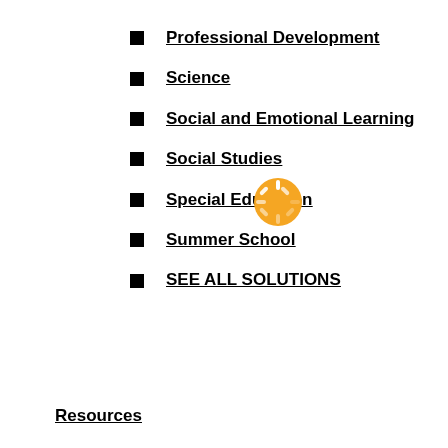Professional Development
Science
Social and Emotional Learning
Social Studies
Special Education
Summer School
SEE ALL SOLUTIONS
Resources